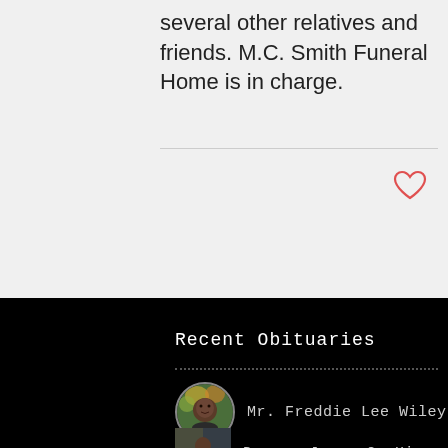several other relatives and friends. M.C. Smith Funeral Home is in charge.
[Figure (illustration): Heart icon (like/favorite button) in coral/red outline]
Recent Obituaries
Mr. Freddie Lee Wiley
[Figure (photo): Circular thumbnail portrait photo of Mr. Freddie Lee Wiley, elderly man, against autumn foliage background]
Deacon James C. Hines
[Figure (photo): Rectangular thumbnail photo for Deacon James C. Hines]